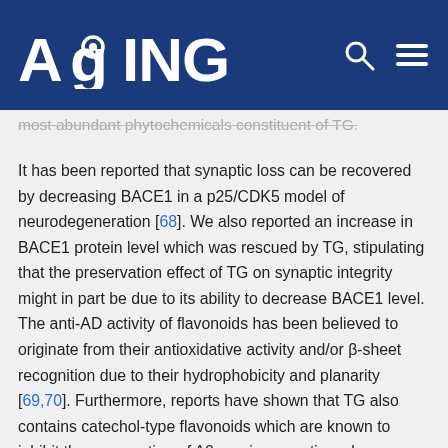AGING
most abundant phytochemicals constituent of TG.
It has been reported that synaptic loss can be recovered by decreasing BACE1 in a p25/CDK5 model of neurodegeneration [68]. We also reported an increase in BACE1 protein level which was rescued by TG, stipulating that the preservation effect of TG on synaptic integrity might in part be due to its ability to decrease BACE1 level. The anti-AD activity of flavonoids has been believed to originate from their antioxidative activity and/or β-sheet recognition due to their hydrophobicity and planarity [69,70]. Furthermore, reports have shown that TG also contains catechol-type flavonoids which are known to inhibit the aggregation of Aβ1-42, in a reaction where a catechol structure is autoxidized to form an o-quinone on the B-ring, followed by the formation of the o-quinone-Aβ1-42 adduct targeting Lys residues at positions 16 and 28 of